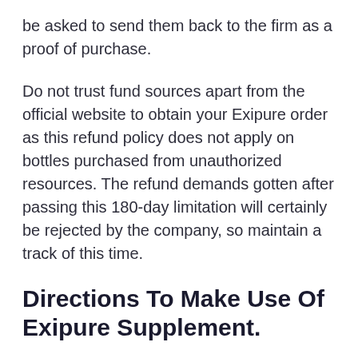be asked to send them back to the firm as a proof of purchase.
Do not trust fund sources apart from the official website to obtain your Exipure order as this refund policy does not apply on bottles purchased from unauthorized resources. The refund demands gotten after passing this 180-day limitation will certainly be rejected by the company, so maintain a track of this time.
Directions To Make Use Of Exipure Supplement.
Utilizing Exipure is no various than utilizing